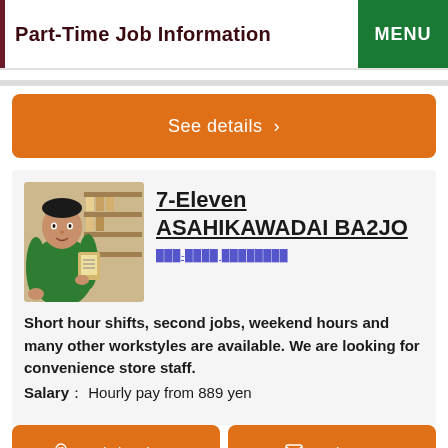Part-Time Job Information
See details ›
[Figure (photo): A young man in a green uniform working at a convenience store, holding a clipboard, with shelves of products in the background.]
7-Eleven ASAHIKAWADAI BA2JO
███-████ ████████
Short hour shifts, second jobs, weekend hours and many other workstyles are available. We are looking for convenience store staff.
Salary： Hourly pay from 889 yen
Apply by phone
Apply now